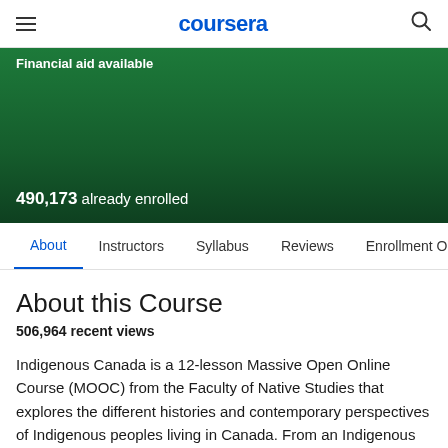coursera
Financial aid available
490,173 already enrolled
About  Instructors  Syllabus  Reviews  Enrollment Opt
About this Course
506,964 recent views
Indigenous Canada is a 12-lesson Massive Open Online Course (MOOC) from the Faculty of Native Studies that explores the different histories and contemporary perspectives of Indigenous peoples living in Canada. From an Indigenous perspective, this course explores complex experiences